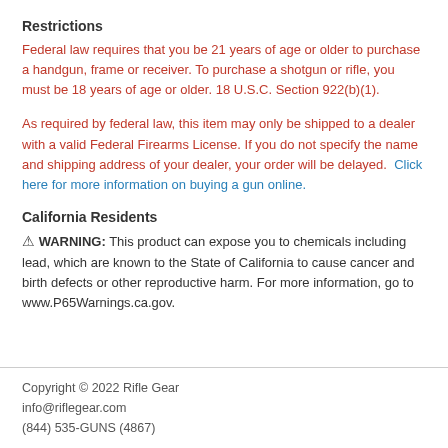Restrictions
Federal law requires that you be 21 years of age or older to purchase a handgun, frame or receiver. To purchase a shotgun or rifle, you must be 18 years of age or older. 18 U.S.C. Section 922(b)(1).
As required by federal law, this item may only be shipped to a dealer with a valid Federal Firearms License. If you do not specify the name and shipping address of your dealer, your order will be delayed. Click here for more information on buying a gun online.
California Residents
⚠ WARNING: This product can expose you to chemicals including lead, which are known to the State of California to cause cancer and birth defects or other reproductive harm. For more information, go to www.P65Warnings.ca.gov.
Copyright © 2022 Rifle Gear
info@riflegear.com
(844) 535-GUNS (4867)